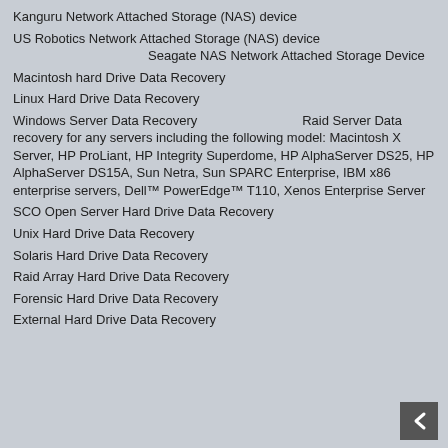Kanguru Network Attached Storage (NAS) device
US Robotics Network Attached Storage (NAS) device                         Seagate NAS Network Attached Storage Device
Macintosh hard Drive Data Recovery
Linux Hard Drive Data Recovery
Windows Server Data Recovery                         Raid Server Data recovery for any servers including the following model: Macintosh X Server, HP ProLiant, HP Integrity Superdome, HP AlphaServer DS25, HP AlphaServer DS15A, Sun Netra, Sun SPARC Enterprise, IBM x86 enterprise servers, Dell™ PowerEdge™ T110, Xenos Enterprise Server
SCO Open Server Hard Drive Data Recovery
Unix Hard Drive Data Recovery
Solaris Hard Drive Data Recovery
Raid Array Hard Drive Data Recovery
Forensic Hard Drive Data Recovery
External Hard Drive Data Recovery